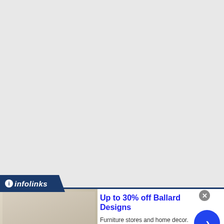[Figure (other): Gray background area taking up most of the page — appears to be a webpage background with no content loaded]
[Figure (logo): Infolinks logo — white italic text on dark navy blue banner with chevron shape]
[Figure (other): Web advertisement for Ballard Designs showing furniture store image on the left, headline text, subtext, URL, blue arrow button, and close button. Headline: Up to 30% off Ballard Designs. Subtext: Furniture stores and home decor. It's Ballard! URL: ballarddesigns.com]